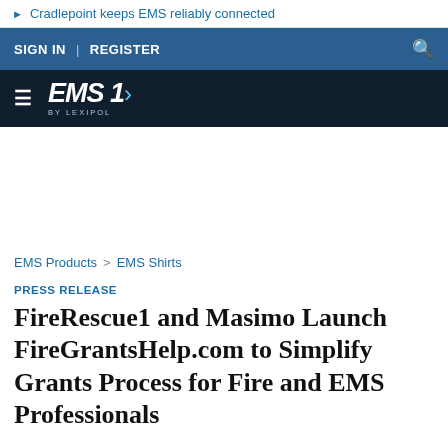▶ Cradlepoint keeps EMS reliably connected
SIGN IN | REGISTER
[Figure (logo): EMS1 by Lexipol logo on dark navy background with hamburger menu icon]
EMS Products > EMS Shirts
PRESS RELEASE
FireRescue1 and Masimo Launch FireGrantsHelp.com to Simplify Grants Process for Fire and EMS Professionals